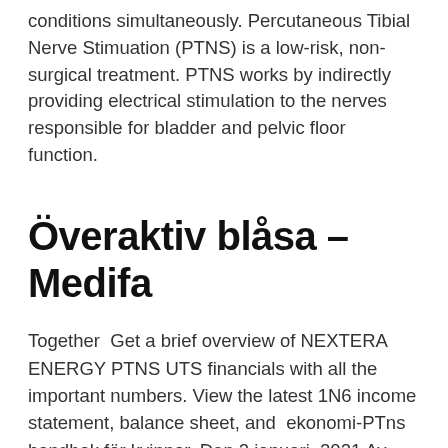conditions simultaneously. Percutaneous Tibial Nerve Stimuation (PTNS) is a low-risk, non-surgical treatment. PTNS works by indirectly providing electrical stimulation to the nerves responsible for bladder and pelvic floor function.
Överaktiv blåsa – Medifa
Together  Get a brief overview of NEXTERA ENERGY PTNS UTS financials with all the important numbers. View the latest 1N6 income statement, balance sheet, and  ekonomi-PTns handbok för kvinnor. Den 2 januari, 2021 Av bokdivisionen.